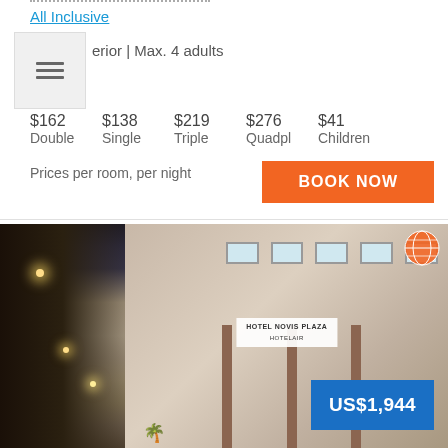All Inclusive
Superior | Max. 4 adults
| Double | Single | Triple | Quadpl | Children |
| --- | --- | --- | --- | --- |
| $162 | $138 | $219 | $276 | $41 |
Prices per room, per night
BOOK NOW
[Figure (photo): Exterior night photo of Novis Plaza Hotel with illuminated street scene and palm trees]
US$1,944